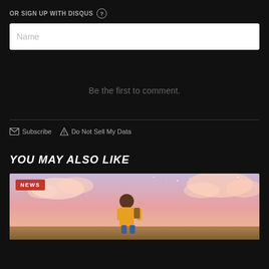OR SIGN UP WITH DISQUS ?
Name
Be the first to comment.
Subscribe   Do Not Sell My Data
YOU MAY ALSO LIKE
[Figure (photo): Animated illustration showing a child character standing against a scenic sky with clouds, with a NEWS badge overlay in the top-left corner.]